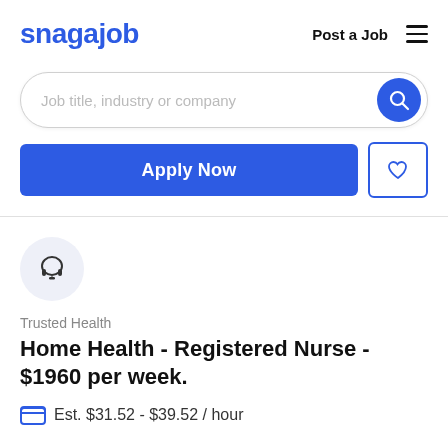snagajob  Post a Job  ☰
[Figure (screenshot): Search bar with placeholder text 'Job title, industry or company' and a blue circular search button]
Apply Now
[Figure (illustration): Headphone/headset icon in a light blue-gray circle representing Trusted Health company logo]
Trusted Health
Home Health - Registered Nurse - $1960 per week.
Est. $31.52 - $39.52 / hour